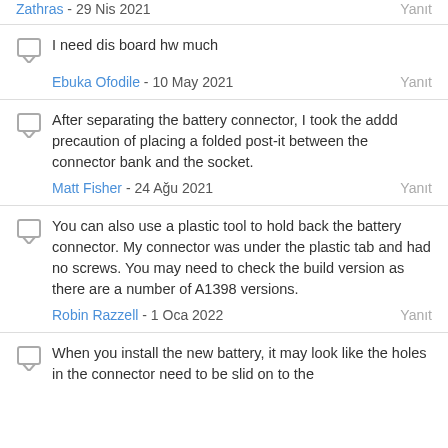Zathras - 29 Nis 2021  Yanıt
I need dis board hw much
Ebuka Ofodile - 10 May 2021  Yanıt
After separating the battery connector, I took the addd precaution of placing a folded post-it between the connector bank and the socket.
Matt Fisher - 24 Ağu 2021  Yanıt
You can also use a plastic tool to hold back the battery connector. My connector was under the plastic tab and had no screws. You may need to check the build version as there are a number of A1398 versions.
Robin Razzell - 1 Oca 2022  Yanıt
When you install the new battery, it may look like the holes in the connector need to be slid on to the